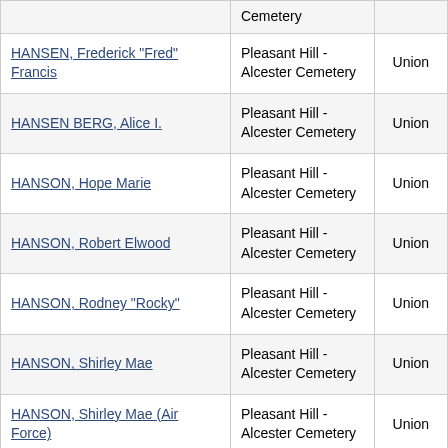| Name | Cemetery |  |
| --- | --- | --- |
|  | Cemetery |  |
| HANSEN, Frederick "Fred" Francis | Pleasant Hill - Alcester Cemetery | Union |
| HANSEN BERG, Alice I. | Pleasant Hill - Alcester Cemetery | Union |
| HANSON, Hope Marie | Pleasant Hill - Alcester Cemetery | Union |
| HANSON, Robert Elwood | Pleasant Hill - Alcester Cemetery | Union |
| HANSON, Rodney "Rocky" | Pleasant Hill - Alcester Cemetery | Union |
| HANSON, Shirley Mae | Pleasant Hill - Alcester Cemetery | Union |
| HANSON, Shirley Mae (Air Force) | Pleasant Hill - Alcester Cemetery | Union |
| HANSON, Steven Keith | Pleasant Hill - Alcester Cemetery | Union |
|  | Pleasant Hill - Alcester |  |